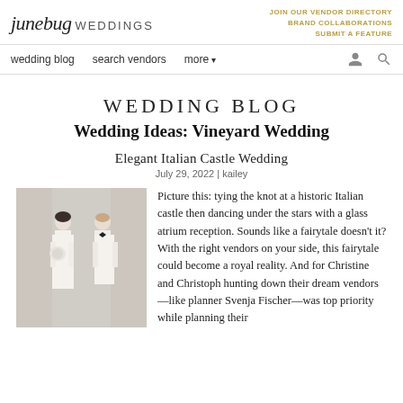junebug WEDDINGS | JOIN OUR VENDOR DIRECTORY BRAND COLLABORATIONS SUBMIT A FEATURE
wedding blog | search vendors | more | [user icon] [search icon]
WEDDING BLOG
Wedding Ideas: Vineyard Wedding
Elegant Italian Castle Wedding
July 29, 2022 | kailey
[Figure (photo): A couple posing at their wedding — bride in white dress holding bouquet, groom in white tuxedo jacket, with draped white fabric backdrop]
Picture this: tying the knot at a historic Italian castle then dancing under the stars with a glass atrium reception. Sounds like a fairytale doesn't it? With the right vendors on your side, this fairytale could become a royal reality. And for Christine and Christoph hunting down their dream vendors—like planner Svenja Fischer—was top priority while planning their dream destination wedding. This couple's...